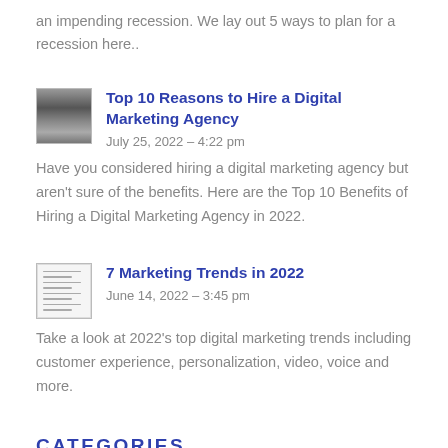an impending recession. We lay out 5 ways to plan for a recession here..
[Figure (photo): Thumbnail image for Top 10 Reasons to Hire a Digital Marketing Agency article]
Top 10 Reasons to Hire a Digital Marketing Agency
July 25, 2022 – 4:22 pm
Have you considered hiring a digital marketing agency but aren't sure of the benefits. Here are the Top 10 Benefits of Hiring a Digital Marketing Agency in 2022.
[Figure (illustration): Thumbnail document icon for 7 Marketing Trends in 2022 article]
7 Marketing Trends in 2022
June 14, 2022 – 3:45 pm
Take a look at 2022's top digital marketing trends including customer experience, personalization, video, voice and more.
CATEGORIES